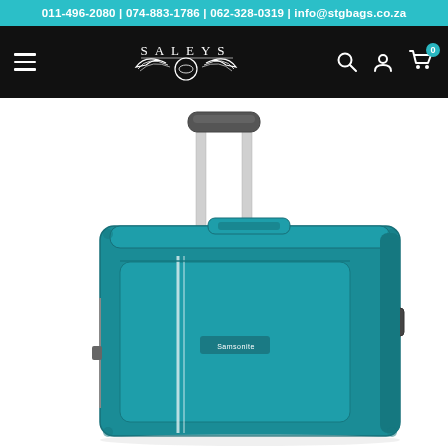011-496-2080 | 074-883-1786 | 062-328-0319 | info@stgbags.co.za
[Figure (screenshot): Saleys store navigation bar with hamburger menu, Saleys logo with wings emblem, and icons for search, account, and cart (showing 0 items) on a black background]
[Figure (photo): A teal/dark cyan Samsonite soft-shell wheeled suitcase with an extended silver telescopic handle, front zipper pocket, decorative white stripe, TSA lock on the right side, and a Samsonite logo badge, photographed on a white background]